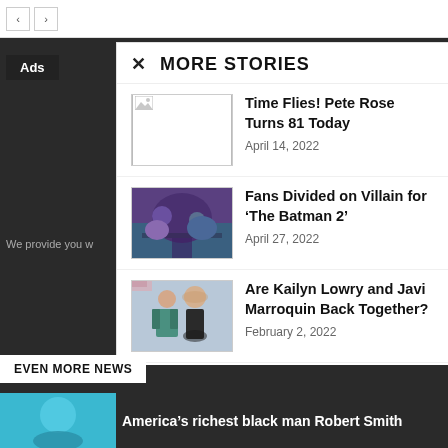< >
Ads
MORE STORIES
We provide you w
Time Flies! Pete Rose Turns 81 Today
April 14, 2022
Fans Divided on Villain for ‘The Batman 2’
April 27, 2022
Are Kailyn Lowry and Javi Marroquin Back Together?
February 2, 2022
EVEN MORE NEWS
America’s richest black man Robert Smith